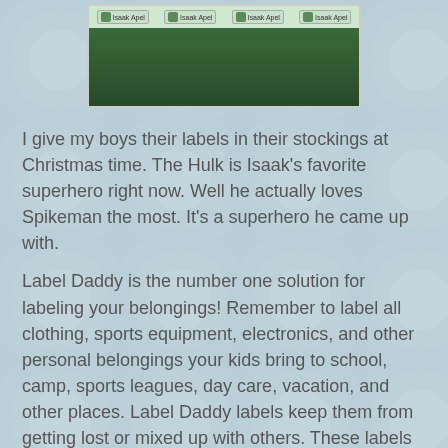[Figure (photo): Photo showing a strip of personalized labels reading 'Isaak Apel' with a green/Hulk-themed icon, placed on a grass background]
I give my boys their labels in their stockings at Christmas time. The Hulk is Isaak's favorite superhero right now. Well he actually loves Spikeman the most. It's a superhero he came up with.
Label Daddy is the number one solution for labeling your belongings! Remember to label all clothing, sports equipment, electronics, and other personal belongings your kids bring to school, camp, sports leagues, day care, vacation, and other places. Label Daddy labels keep them from getting lost or mixed up with others. These labels are great for adults too! -- Put them on your sunglass/eyeglass case, phone, camera, sports equipment, tablet, e-reader, hats, clothing, and more.
These labels are super durable peel-and-stick washable labels -- they're washer/dryer safe, microwave safe,